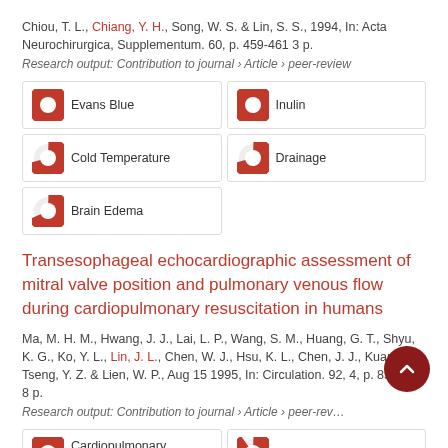Chiou, T. L., Chiang, Y. H., Song, W. S. & Lin, S. S., 1994, In: Acta Neurochirurgica, Supplementum. 60, p. 459-461 3 p.
Research output: Contribution to journal › Article › peer-review
Evans Blue
Inulin
Cold Temperature
Drainage
Brain Edema
Transesophageal echocardiographic assessment of mitral valve position and pulmonary venous flow during cardiopulmonary resuscitation in humans
Ma, M. H. M., Hwang, J. J., Lai, L. P., Wang, S. M., Huang, G. T., Shyu, K. G., Ko, Y. L., Lin, J. L., Chen, W. J., Hsu, K. L., Chen, J. J., Kuan, P., Tseng, Y. Z. & Lien, W. P., Aug 15 1995, In: Circulation. 92, 4, p. 854-861 8 p.
Research output: Contribution to journal › Article › peer-review
Cardiopulmonary Resuscitation
Mitral Valve
Thorax